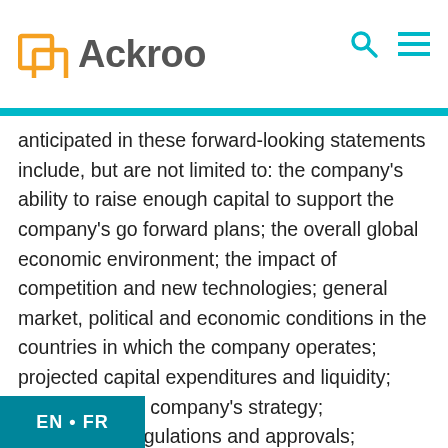Ackroo
anticipated in these forward-looking statements include, but are not limited to: the company's ability to raise enough capital to support the company's go forward plans; the overall global economic environment; the impact of competition and new technologies; general market, political and economic conditions in the countries in which the company operates; projected capital expenditures and liquidity; changes in the company's strategy; government regulations and approvals; changes in customers' budgeting priorities; plus other factors that may arise. Any forward-looking statements in this press release are made as of the date hereof, and the company undertakes no obligation to